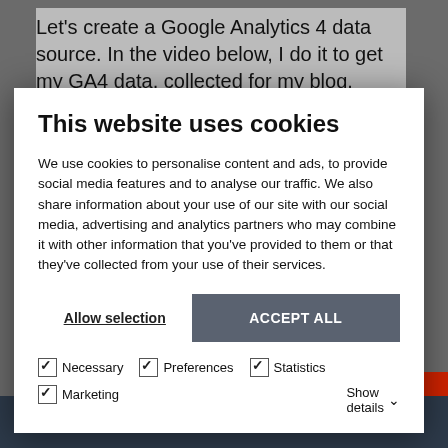Let's create a Google Analytics 4 data source. In the video below, I do it to get my GA4 data, collected for my blog.
This website uses cookies
We use cookies to personalise content and ads, to provide social media features and to analyse our traffic. We also share information about your use of our site with our social media, advertising and analytics partners who may combine it with other information that you've provided to them or that they've collected from your use of their services.
Allow selection | ACCEPT ALL
☑ Necessary  ☑ Preferences  ☑ Statistics  ☑ Marketing  Show details ∨
Data source fields list
Then, we see where are our new fields how they has been